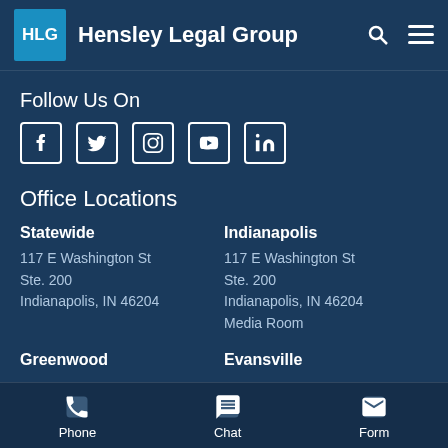HLG Hensley Legal Group
Follow Us On
[Figure (illustration): Social media icons: Facebook, Twitter, Instagram, YouTube, LinkedIn]
Office Locations
Statewide
117 E Washington St
Ste. 200
Indianapolis, IN 46204
Indianapolis
117 E Washington St
Ste. 200
Indianapolis, IN 46204
Media Room
Greenwood
Evansville
Phone   Chat   Form